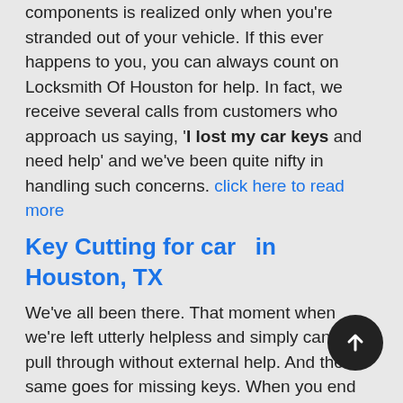components is realized only when you're stranded out of your vehicle. If this ever happens to you, you can always count on Locksmith Of Houston for help. In fact, we receive several calls from customers who approach us saying, 'I lost my car keys and need help' and we've been quite nifty in handling such concerns. click here to read more
Key Cutting for car  in Houston, TX
We've all been there. That moment when we're left utterly helpless and simply cannot pull through without external help. And the same goes for missing keys. When you end up losing your car keys, there's absolutely nothing you can do to coax your lock into unlocking or convince the ignition to fire up. If you're ever in need of key cutting for cars , then you've come to the right place! Locksmith Of Houston is a premier locksmithing agency that runs a special automotive division to cater to vehicular lock & key concerns. click here to read more